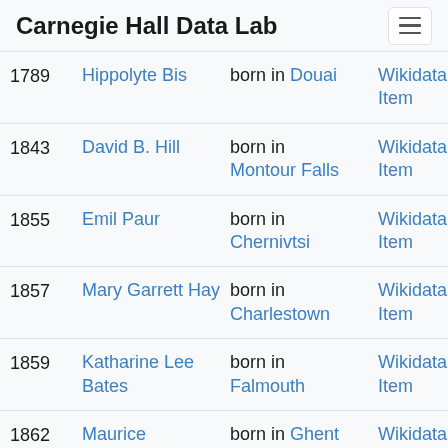Carnegie Hall Data Lab
| Year | Name | Birthplace | Link |
| --- | --- | --- | --- |
| 1789 | Hippolyte Bis | born in Douai | Wikidata Item |
| 1843 | David B. Hill | born in Montour Falls | Wikidata Item |
| 1855 | Emil Paur | born in Chernivtsi | Wikidata Item |
| 1857 | Mary Garrett Hay | born in Charlestown | Wikidata Item |
| 1859 | Katharine Lee Bates | born in Falmouth | Wikidata Item |
| 1862 | Maurice | born in Ghent | Wikidata |